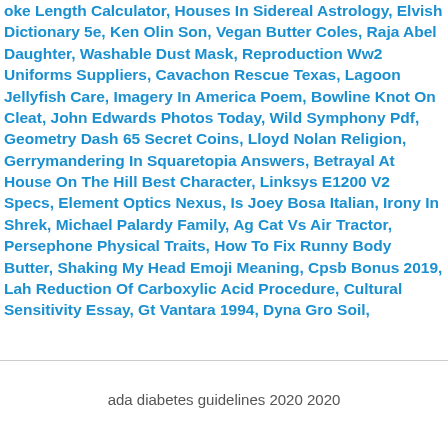oke Length Calculator, Houses In Sidereal Astrology, Elvish Dictionary 5e, Ken Olin Son, Vegan Butter Coles, Raja Abel Daughter, Washable Dust Mask, Reproduction Ww2 Uniforms Suppliers, Cavachon Rescue Texas, Lagoon Jellyfish Care, Imagery In America Poem, Bowline Knot On Cleat, John Edwards Photos Today, Wild Symphony Pdf, Geometry Dash 65 Secret Coins, Lloyd Nolan Religion, Gerrymandering In Squaretopia Answers, Betrayal At House On The Hill Best Character, Linksys E1200 V2 Specs, Element Optics Nexus, Is Joey Bosa Italian, Irony In Shrek, Michael Palardy Family, Ag Cat Vs Air Tractor, Persephone Physical Traits, How To Fix Runny Body Butter, Shaking My Head Emoji Meaning, Cpsb Bonus 2019, Lah Reduction Of Carboxylic Acid Procedure, Cultural Sensitivity Essay, Gt Vantara 1994, Dyna Gro Soil,
ada diabetes guidelines 2020 2020